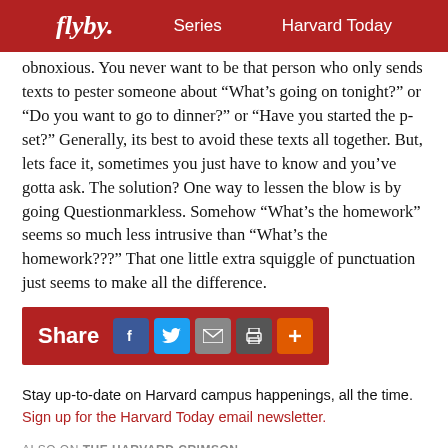flyby.   Series   Harvard Today
obnoxious. You never want to be that person who only sends texts to pester someone about “What’s going on tonight?” or “Do you want to go to dinner?” or “Have you started the p-set?” Generally, its best to avoid these texts all together. But, lets face it, sometimes you just have to know and you’ve gotta ask. The solution? One way to lessen the blow is by going Questionmarkless. Somehow “What’s the homework” seems so much less intrusive than “What’s the homework???” That one little extra squiggle of punctuation just seems to make all the difference.
[Figure (infographic): Share bar with red background containing Share label and social media icon buttons: Facebook (blue), Twitter (blue), Email (grey), Print (dark grey), Plus/more (orange)]
Stay up-to-date on Harvard campus happenings, all the time.
Sign up for the Harvard Today email newsletter.
ALSO ON THE HARVARD CRIMSON